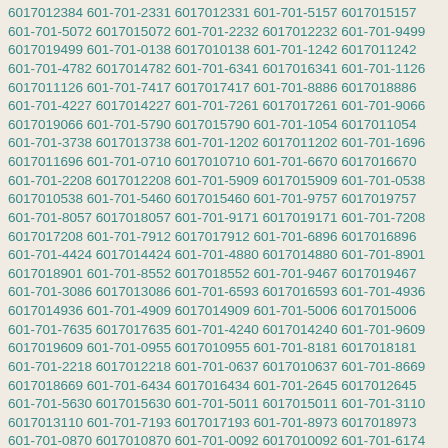6017012384 601-701-2331 6017012331 601-701-5157 6017015157 601-701-5072 6017015072 601-701-2232 6017012232 601-701-9499 6017019499 601-701-0138 6017010138 601-701-1242 6017011242 601-701-4782 6017014782 601-701-6341 6017016341 601-701-1126 6017011126 601-701-7417 6017017417 601-701-8886 6017018886 601-701-4227 6017014227 601-701-7261 6017017261 601-701-9066 6017019066 601-701-5790 6017015790 601-701-1054 6017011054 601-701-3738 6017013738 601-701-1202 6017011202 601-701-1696 6017011696 601-701-0710 6017010710 601-701-6670 6017016670 601-701-2208 6017012208 601-701-5909 6017015909 601-701-0538 6017010538 601-701-5460 6017015460 601-701-9757 6017019757 601-701-8057 6017018057 601-701-9171 6017019171 601-701-7208 6017017208 601-701-7912 6017017912 601-701-6896 6017016896 601-701-4424 6017014424 601-701-4880 6017014880 601-701-8901 6017018901 601-701-8552 6017018552 601-701-9467 6017019467 601-701-3086 6017013086 601-701-6593 6017016593 601-701-4936 6017014936 601-701-4909 6017014909 601-701-5006 6017015006 601-701-7635 6017017635 601-701-4240 6017014240 601-701-9609 6017019609 601-701-0955 6017010955 601-701-8181 6017018181 601-701-2218 6017012218 601-701-0637 6017010637 601-701-8669 6017018669 601-701-6434 6017016434 601-701-2645 6017012645 601-701-5630 6017015630 601-701-5011 6017015011 601-701-3110 6017013110 601-701-7193 6017017193 601-701-8973 6017018973 601-701-0870 6017010870 601-701-0092 6017010092 601-701-6174 6017016174 601-701-3238 6017013238 601-701-6605 6017016605 601-701-5417 6017015417 601-701-1958 6017011958 601-701-9776 6017019776 601-701-7994 6017017994 601-701-2939 6017012939 601-